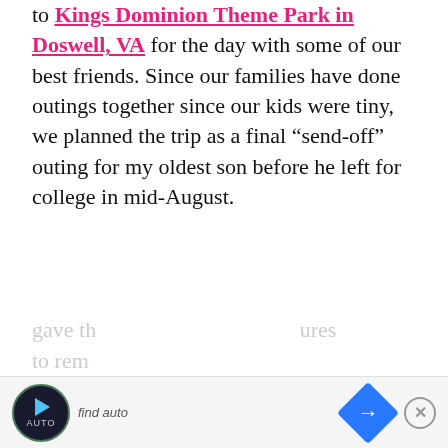to Kings Dominion Theme Park in Doswell, VA for the day with some of our best friends. Since our families have done outings together since our kids were tiny, we planned the trip as a final “send-off” outing for my oldest son before he left for college in mid-August.
Our party included eight kids in all, with four ten-year-olds (two sets of twins), a thirteen-year-old, a fifteen-year-old, a seventeen-year-old, and an eighteen-year-old plus two moms of unmentionable age. We agreed to let the four oldest kids split off right away. Since they had all-day dining passes and fast lane passes, they didn’t need to come to see us for food money or anything. We agreed to check in with them periodically throughout the day via text. I
gave th ures to rem
[Figure (other): Advertisement bar at bottom of page with a circular dark logo featuring a play button and 'auto' text, italic text 'find auto', a blue diamond with right-arrow icon, and a close (X) button]